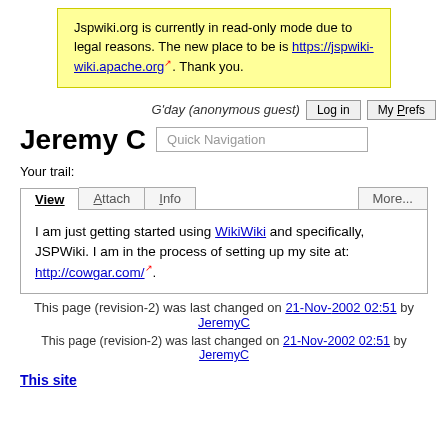Jspwiki.org is currently in read-only mode due to legal reasons. The new place to be is https://jspwiki-wiki.apache.org. Thank you.
G'day (anonymous guest)
Log in
My Prefs
Jeremy C
Quick Navigation
Your trail:
View  Attach  Info  More...
I am just getting started using WikiWiki and specifically, JSPWiki. I am in the process of setting up my site at: http://cowgar.com/.
This page (revision-2) was last changed on 21-Nov-2002 02:51 by JeremyC
This site